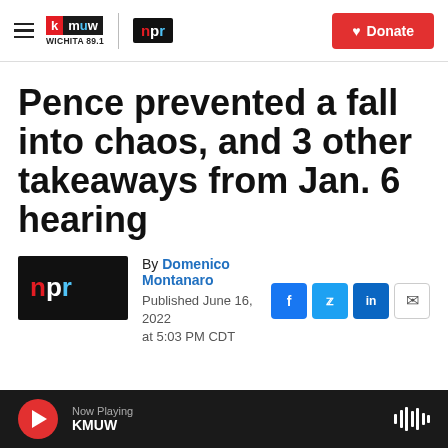KMUW WICHITA 89.1 | NPR | Donate
Pence prevented a fall into chaos, and 3 other takeaways from Jan. 6 hearing
By Domenico Montanaro
Published June 16, 2022 at 5:03 PM CDT
Now Playing KMUW